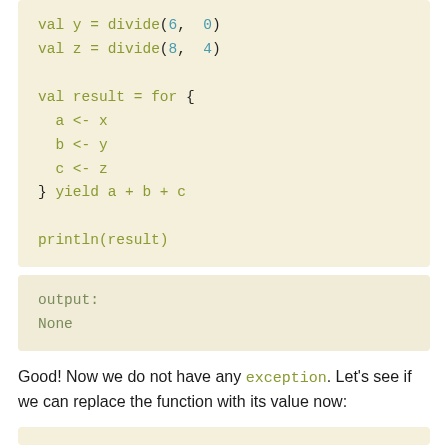[Figure (screenshot): Code block showing Scala for-comprehension with val y = divide(6, 0), val z = divide(8, 4), val result = for { a <- x; b <- y; c <- z } yield a + b + c, println(result)]
[Figure (screenshot): Output block showing: output: None]
Good! Now we do not have any exception. Let's see if we can replace the function with its value now: